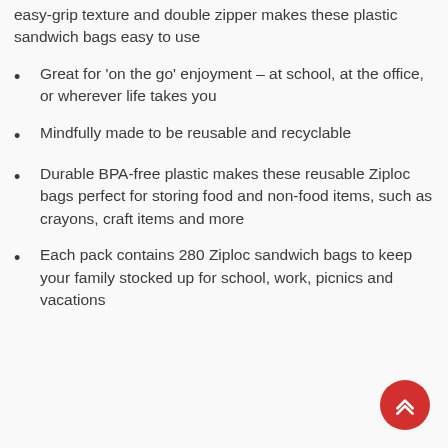easy-grip texture and double zipper makes these plastic sandwich bags easy to use
Great for 'on the go' enjoyment – at school, at the office, or wherever life takes you
Mindfully made to be reusable and recyclable
Durable BPA-free plastic makes these reusable Ziploc bags perfect for storing food and non-food items, such as crayons, craft items and more
Each pack contains 280 Ziploc sandwich bags to keep your family stocked up for school, work, picnics and vacations